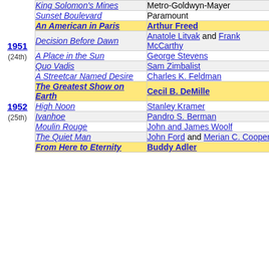| Year | Film | Producer |
| --- | --- | --- |
|  | King Solomon's Mines | Metro-Goldwyn-Mayer |
|  | Sunset Boulevard | Paramount |
| 1951 (24th) | An American in Paris | Arthur Freed |
|  | Decision Before Dawn | Anatole Litvak and Frank McCarthy |
|  | A Place in the Sun | George Stevens |
|  | Quo Vadis | Sam Zimbalist |
|  | A Streetcar Named Desire | Charles K. Feldman |
| 1952 (25th) | The Greatest Show on Earth | Cecil B. DeMille |
|  | High Noon | Stanley Kramer |
|  | Ivanhoe | Pandro S. Berman |
|  | Moulin Rouge | John and James Woolf |
|  | The Quiet Man | John Ford and Merian C. Cooper |
|  | From Here to Eternity | Buddy Adler |